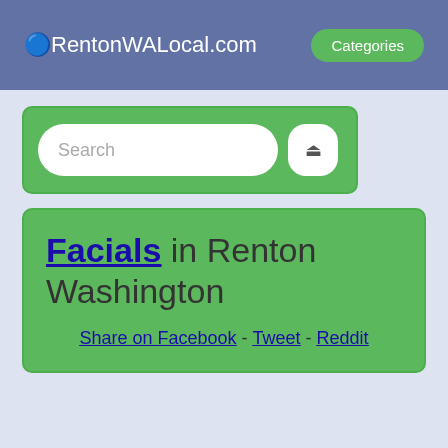🔵RentonWALocal.com  Categories
[Figure (screenshot): Search bar with text input field and search button on green background]
Facials in Renton Washington
Share on Facebook - Tweet - Reddit